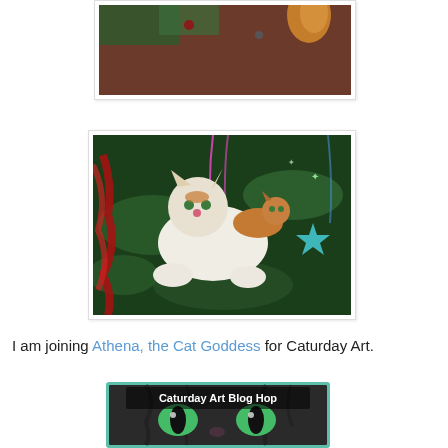[Figure (photo): Partial view of a cat near a Christmas tree with ornaments, mostly out of frame, warm brown tones]
[Figure (photo): Two cat figurine ornaments (ceramic/porcelain) hanging on a Christmas tree decorated with red tinsel, green lights shaped like stars, and a blue star ornament. The main figurine is a white and orange cat lying down with a smaller orange cat on its back.]
I am joining Athena, the Cat Goddess for Caturday Art.
[Figure (photo): Caturday Art Blog Hop badge showing a close-up of a cat's face with bright green eyes and the text 'Caturday Art Blog Hop']